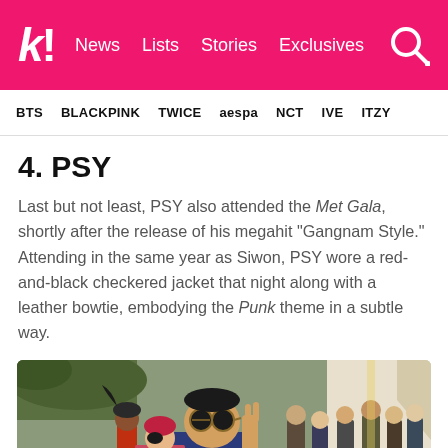k! News Lists Stories Exclusives
BTS BLACKPINK TWICE aespa NCT IVE ITZY
4. PSY
Last but not least, PSY also attended the Met Gala, shortly after the release of his megahit “Gangnam Style.” Attending in the same year as Siwon, PSY wore a red-and-black checkered jacket that night along with a leather bowtie, embodying the Punk theme in a subtle way.
[Figure (photo): PSY at the Met Gala wearing sunglasses and making a hand gesture, surrounded by a crowd of people]